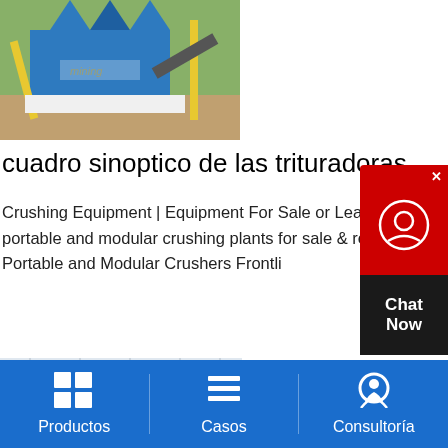[Figure (photo): Large blue mobile crushing and screening plant outdoors on a construction/mining site with green vegetation in background]
cuadro sinoptico de las trituradoras
Crushing Equipment | Equipment For Sale or Lease Mobile, portable and modular crushing plants for sale & rent Mobile, Portable and Modular Crushers Frontli
[Figure (photo): Jaw crusher machine indoors in a factory/warehouse, with large red flywheel and triangular jaw plates, mounted on blue base]
Productos   Casos   Consultoría